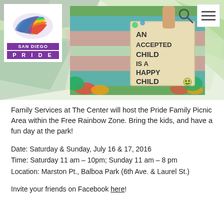[Figure (screenshot): San Diego Pride website header with logo (colorful bird, purple 'SAN DIEGO PRIDE' text), geometric colorful background, search icon, hamburger menu icon, and a photo of a person holding a sign reading 'AN ACCEPTED CHILD IS A HAPPY CHILD']
Family Services at The Center will host the Pride Family Picnic Area within the Free Rainbow Zone. Bring the kids, and have a fun day at the park!
Date: Saturday & Sunday, July 16 & 17, 2016
Time: Saturday 11 am – 10pm; Sunday 11 am – 8 pm
Location: Marston Pt., Balboa Park (6th Ave. & Laurel St.)
Invite your friends on Facebook here!